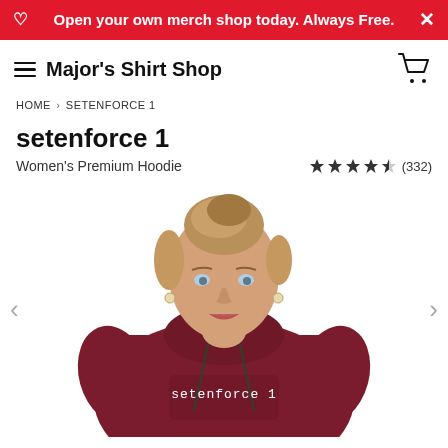Open your own merch shop today. Always Free.
Major's Shirt Shop
HOME > SETENFORCE 1
setenforce 1
Women's Premium Hoodie
★★★★☆ (332)
[Figure (photo): Woman wearing a dark red/maroon hoodie with 'setenforce 1' printed on the front in white monospace text. She has blonde hair pulled up and is looking at the camera.]